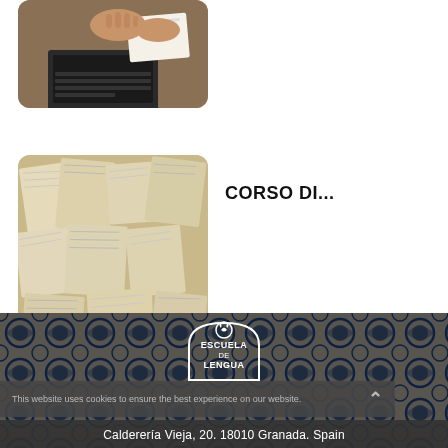[Figure (photo): Hands working on paper documents near a laptop keyboard, top-down view]
[Figure (photo): Many open books spread flat showing pages, viewed from above]
CORSO DI...
VIEW ALL »
[Figure (photo): Footer background with decorative Moorish/Alhambra blue and white tile pattern]
[Figure (logo): Escuela de Lengua school logo — circular emblem with text ESCUELA DE LENGUA]
This website uses cookies to ensure the best experience on our website.
Calderería Vieja, 20. 18010 Granada. Spain